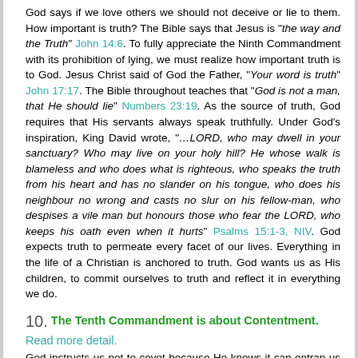God says if we love others we should not deceive or lie to them. How important is truth? The Bible says that Jesus is “the way and the Truth” John 14:6. To fully appreciate the Ninth Commandment with its prohibition of lying, we must realize how important truth is to God. Jesus Christ said of God the Father, “Your word is truth” John 17:17. The Bible throughout teaches that “God is not a man, that He should lie” Numbers 23:19. As the source of truth, God requires that His servants always speak truthfully. Under God’s inspiration, King David wrote, “…LORD, who may dwell in your sanctuary? Who may live on your holy hill? He whose walk is blameless and who does what is righteous, who speaks the truth from his heart and has no slander on his tongue, who does his neighbour no wrong and casts no slur on his fellow-man, who despises a vile man but honours those who fear the LORD, who keeps his oath even when it hurts” Psalms 15:1-3, NIV. God expects truth to permeate every facet of our lives. Everything in the life of a Christian is anchored to truth. God wants us as His children, to commit ourselves to truth and reflect it in everything we do.
10. The Tenth Commandment is about Contentment. Read more detail.
God instructs us not to covet because He knows it can entrap us into even greater sin. To covet means to crave or desire, especially in excessive or improper ways. The Tenth Commandment does not tell us that all of our desires are immoral. It tells us that some desires are wrong. Coveting is an immoral longing for something that is not rightfully ours. That is